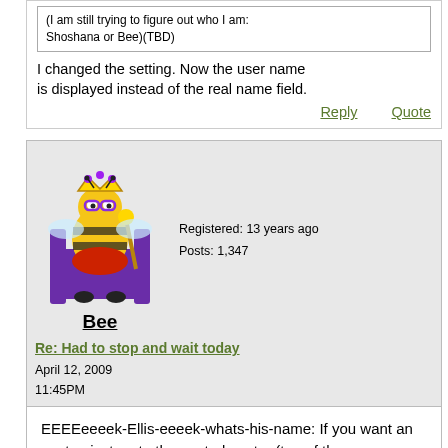(I am still trying to figure out who I am: Shoshana or Bee)(TBD)
I changed the setting. Now the user name is displayed instead of the real name field.
Reply   Quote
[Figure (illustration): Cartoon bee character dressed as a king sitting on a throne, wearing a crown and holding a scepter]
Bee
Registered: 13 years ago
Posts: 1,347
Re: Had to stop and wait today
April 12, 2009
11:45PM
EEEEeeeek-Ellis-eeeek-whats-his-name: If you want an avatar, just go to the control center (top of the screen near the right) and upload one.

"AVATAR: one that is regarded as an